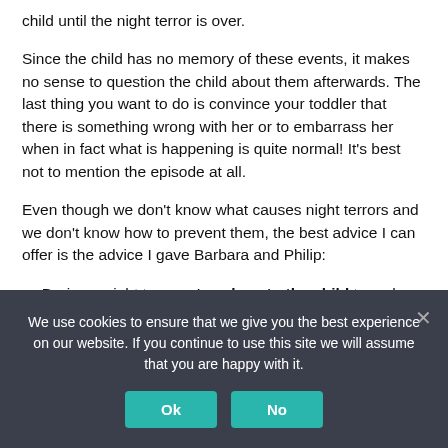child until the night terror is over.
Since the child has no memory of these events, it makes no sense to question the child about them afterwards. The last thing you want to do is convince your toddler that there is something wrong with her or to embarrass her when in fact what is happening is quite normal! It’s best not to mention the episode at all.
Even though we don’t know what causes night terrors and we don’t know how to prevent them, the best advice I can offer is the advice I gave Barbara and Philip:
During a night terror, stay close to the child to make sure
We use cookies to ensure that we give you the best experience on our website. If you continue to use this site we will assume that you are happy with it.